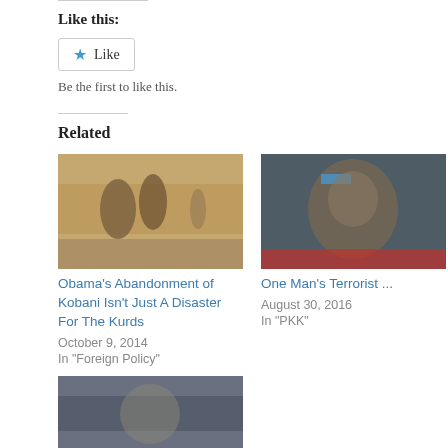Like this:
Like
Be the first to like this.
Related
[Figure (photo): Two armed men walking in a desert landscape]
Obama's Abandonment of Kobani Isn't Just A Disaster For The Kurds
October 9, 2014
In "Foreign Policy"
[Figure (photo): Close-up of a man in military gear]
One Man's Terrorist ...
August 30, 2016
In "PKK"
[Figure (photo): Soldier or armed figure in urban setting]